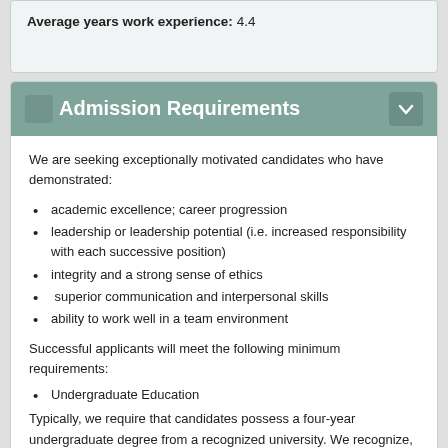Average years work experience: 4.4
Admission Requirements
We are seeking exceptionally motivated candidates who have demonstrated:
academic excellence; career progression
leadership or leadership potential (i.e. increased responsibility with each successive position)
integrity and a strong sense of ethics
superior communication and interpersonal skills
ability to work well in a team environment
Successful applicants will meet the following minimum requirements:
Undergraduate Education
Typically, we require that candidates possess a four-year undergraduate degree from a recognized university. We recognize,